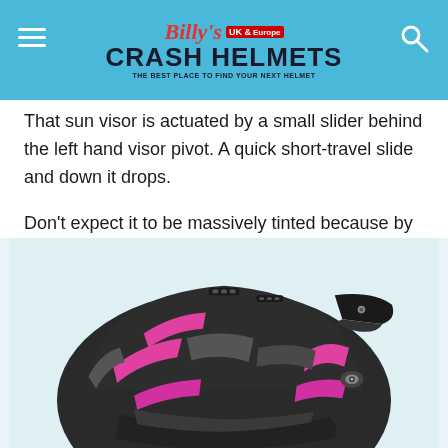Billy's Crash Helmets - UK & Europe
That sun visor is actuated by a small slider behind the left hand visor pivot. A quick short-travel slide and down it drops.
Don't expect it to be massively tinted because by law they're not allowed to cut out too much light. But they're enough to stop you getting dazzled and head-butting something. In fact lots of ADX-1 riders said how useful they find it.
[Figure (photo): Photo of a black and pink motorcycle helmet (ADX-1) viewed from the rear-side angle, showing the visor pivot and ventilation system.]